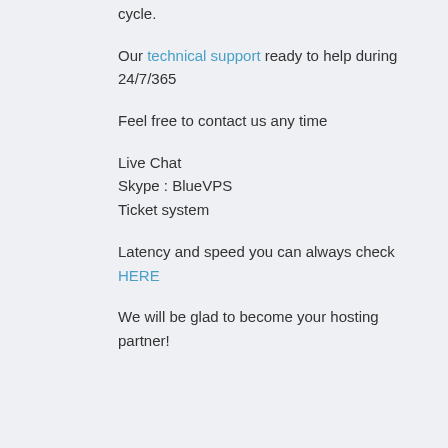cycle.

Our technical support ready to help during 24/7/365

Feel free to contact us any time

Live Chat
Skype : BlueVPS
Ticket system

Latency and speed you can always check HERE

We will be glad to become your hosting partner!
Reply With Quote
10-17-2021, 09:52 AM  #23
BlueVPS  Hello all or Hej